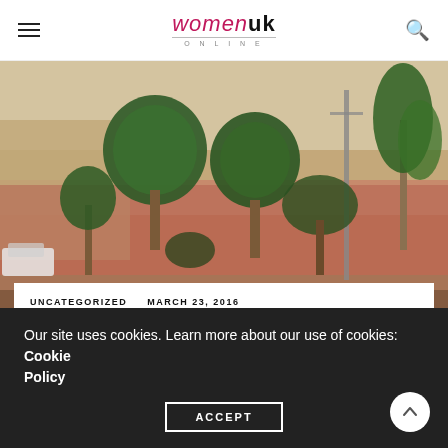womenuk ONLINE
[Figure (photo): Outdoor scene with terracotta/peach colored wall, several green trees including palm-like plants and round-canopied trees, a street with a utility pole, and a white car parked on the left. Warm sunny light.]
UNCATEGORIZED   MARCH 23, 2016
I...
Our site uses cookies. Learn more about our use of cookies: Cookie Policy
ACCEPT